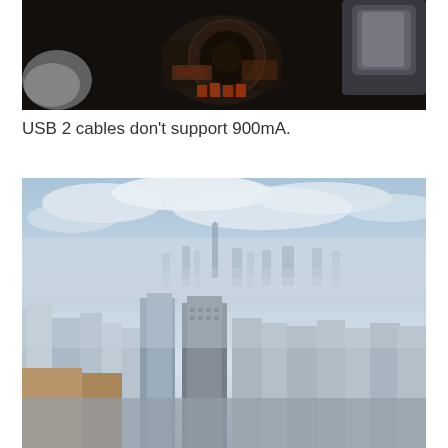[Figure (photo): Dark industrial scene showing rusted machinery/equipment and a chair with a white seat back visible on the right side]
USB 2 cables don't support 900mA.
[Figure (photo): Aerial cityscape view of New York City skyline shrouded in fog/mist, with skyscrapers visible through haze and One World Trade Center in the distance]